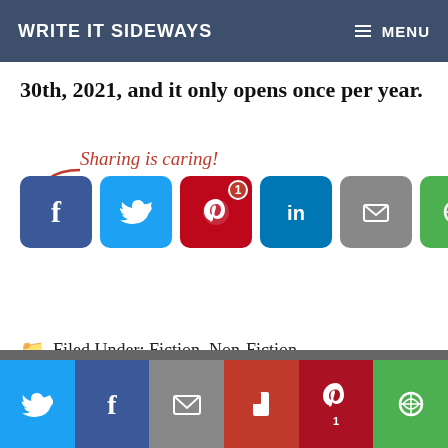WRITE IT SIDEWAYS    ≡ MENU
30th, 2021, and it only opens once per year.
[Figure (infographic): Sharing is caring! social share buttons: Facebook, Twitter, Pinterest (badge 1), LinkedIn, Email, Other]
Filed Under: Fiction, Non-Fiction
[Figure (infographic): Bottom share bar with Twitter, Facebook, Email, Flipboard, Pinterest (badge 1), Other buttons]